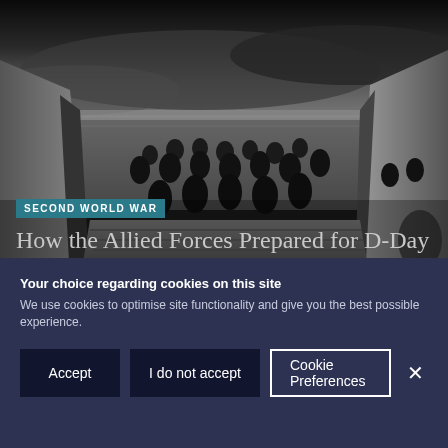[Figure (photo): Black and white photograph of Allied soldiers wading ashore from a landing craft during the D-Day invasion of Normandy. The ramp of the landing craft is lowered, with soldiers in the water facing a beach under dark, cloudy skies.]
SECOND WORLD WAR
How the Allied Forces Prepared for D-Day
Your choice regarding cookies on this site
We use cookies to optimise site functionality and give you the best possible experience.
Accept
I do not accept
Cookie Preferences